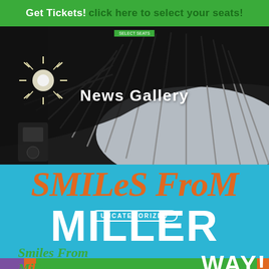Get Tickets! click here to select your seats!
[Figure (photo): Interior venue photo showing architectural ceiling with radiating slats/louvers and stage lighting from below, dark dramatic angle]
News Gallery
[Figure (illustration): Promotional graphic on cyan/teal background showing 'SMILeS FroM' in large orange italic text and 'MILLER' in large white bold text, with 'UNCATEGORIZED' pill label, and 'Smiles From Miller' in green italic below, with colorful strip at bottom]
UNCATEGORIZED
Smiles From Miller